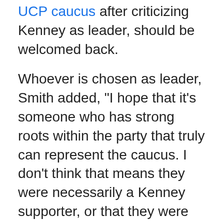UCP caucus after criticizing Kenney as leader, should be welcomed back.
Whoever is chosen as leader, Smith added, "I hope that it's someone who has strong roots within the party that truly can represent the caucus. I don't think that means they were necessarily a Kenney supporter, or that they were necessarily someone who was anti-Jason Kenney."
When pressed on potential future leaders, Smith called Finance Minister Travis Toews a "very, very exciting individual" and "a very sharp fellow." He said Doug Schweitzer was doing "pretty exciting" things as the jobs and economy minister, and has the potential to "cross some